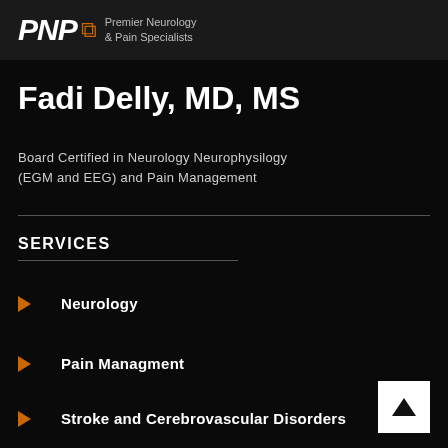PNP Premier Neurology & Pain Specialists
Fadi Delly, MD, MS
Board Certified in Neurology Neurophysilogy (EGM and EEG) and Pain Management
SERVICES
Neurology
Pain Managment
Stroke and Cerebrovascular Disorders